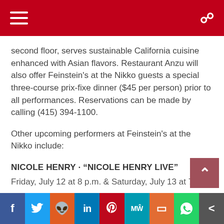[Navigation bar with menu and search icons]
second floor, serves sustainable California cuisine enhanced with Asian flavors. Restaurant Anzu will also offer Feinstein's at the Nikko guests a special three-course prix-fixe dinner ($45 per person) prior to all performances. Reservations can be made by calling (415) 394-1100.
Other upcoming performers at Feinstein's at the Nikko include:
NICOLE HENRY · “NICOLE HENRY LIVE”
Friday, July 12 at 8 p.m. & Saturday, July 13 at 7 p.m.
EMILY BERGL · “UNTIL THE REAL THING COMES ALONG”
Thursday, July 25 at 8 p.m., Friday, July 26 at 8 p.m. & Saturday, July 27 at 7 p.m.
[Social sharing bar: Facebook, Twitter, Reddit, LinkedIn, Pinterest, MeWe, Mix, WhatsApp, Share]